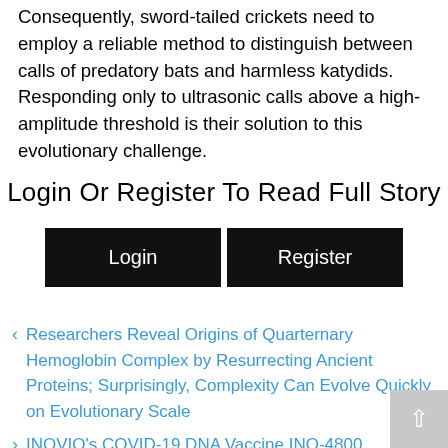Consequently, sword-tailed crickets need to employ a reliable method to distinguish between calls of predatory bats and harmless katydids. Responding only to ultrasonic calls above a high-amplitude threshold is their solution to this evolutionary challenge.
Login Or Register To Read Full Story
Login | Register
< Researchers Reveal Origins of Quarternary Hemoglobin Complex by Resurrecting Ancient Proteins; Surprisingly, Complexity Can Evolve Quickly on Evolutionary Scale
> INOVIO's COVID-19 DNA Vaccine INO-4800 Demonstrates Robust Neutralizing Antibody and T Cell Immune Responses in Preclinical Models: Article